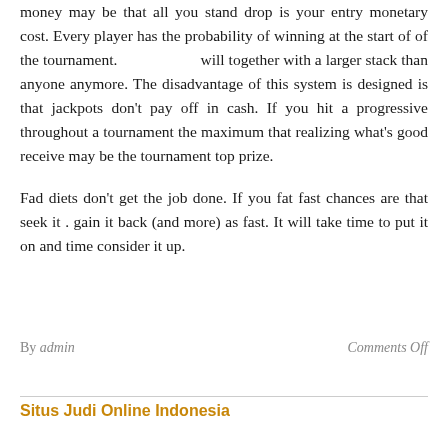for cash which tend to be minimal. The advantage of play money may be that all you stand drop is your entry monetary cost. Every player has the probability of winning at the start of of the tournament.                      will together with a larger stack than anyone anymore. The disadvantage of this system is designed is that jackpots don't pay off in cash. If you hit a progressive throughout a tournament the maximum that realizing what's good receive may be the tournament top prize.
Fad diets don't get the job done. If you fat fast chances are that seek it . gain it back (and more) as fast. It will take time to put it on and time consider it up.
By admin    Comments Off
Situs Judi Online Indonesia